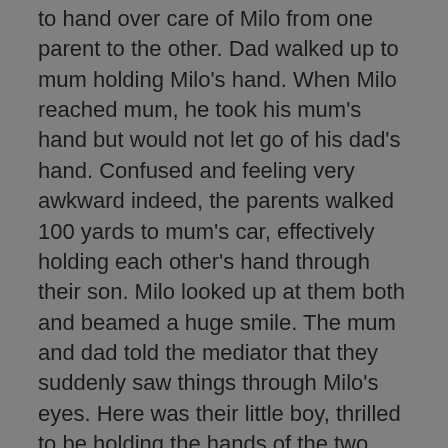to hand over care of Milo from one parent to the other. Dad walked up to mum holding Milo's hand. When Milo reached mum, he took his mum's hand but would not let go of his dad's hand. Confused and feeling very awkward indeed, the parents walked 100 yards to mum's car, effectively holding each other's hand through their son. Milo looked up at them both and beamed a huge smile. The mum and dad told the mediator that they suddenly saw things through Milo's eyes. Here was their little boy, thrilled to be holding the hands of the two people he loved most in the whole wide world. 'We just had to get over all that had happened and get on with being the best mum and dad we could be for Milo'.
After telling this story, the parents made a plan for the year and years ahead, arranging birthdays, holidays, time off for each parent; discussing schooling and how to handle their own wider family members. The mediator was needed in the main, simply to record their plans in